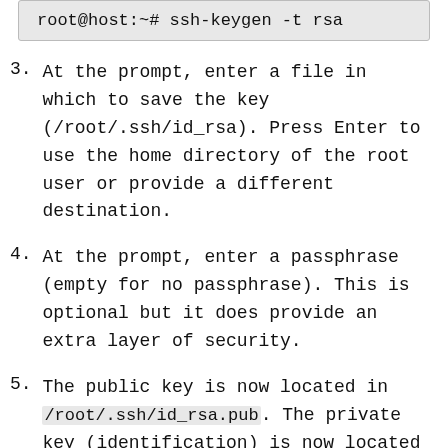[Figure (screenshot): Terminal code block showing: root@host:~# ssh-keygen -t rsa]
3. At the prompt, enter a file in which to save the key (/root/.ssh/id_rsa). Press Enter to use the home directory of the root user or provide a different destination.
4. At the prompt, enter a passphrase (empty for no passphrase). This is optional but it does provide an extra layer of security.
5. The public key is now located in /root/.ssh/id_rsa.pub. The private key (identification) is now located in /root/.ssh/id_rsa